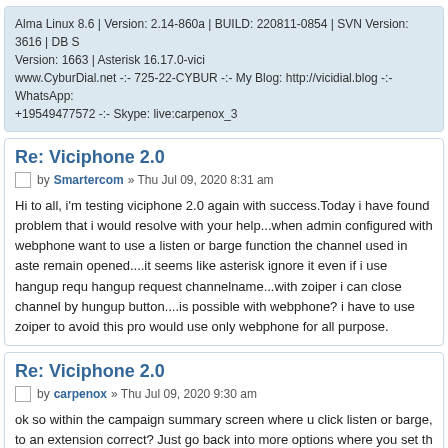Alma Linux 8.6 | Version: 2.14-860a | BUILD: 220811-0854 | SVN Version: 3616 | DB S Version: 1663 | Asterisk 16.17.0-vici www.CyburDial.net -:- 725-22-CYBUR -:- My Blog: http://vicidial.blog -:- WhatsApp: +19549477572 -:- Skype: live:carpenox_3
Re: Viciphone 2.0
by Smartercom » Thu Jul 09, 2020 8:31 am
Hi to all, i'm testing viciphone 2.0 again with success.Today i have found problem that i would resolve with your help...when admin configured with webphone want to use a listen or barge function the channel used in aste remain opened....it seems like asterisk ignore it even if i use hangup requ hangup request channelname...with zoiper i can close channel by hungup button....is possible with webphone? i have to use zoiper to avoid this pro would use only webphone for all purpose.
Re: Viciphone 2.0
by carpenox » Thu Jul 09, 2020 9:30 am
ok so within the campaign summary screen where u click listen or barge, to an extension correct? Just go back into more options where you set th extension and clear it out and hit submit again. it will hang it up. then u ca in and set the extension again to get ready for the next one.
Alma Linux 8.6 | Version: 2.14-860... | BUILD: 220811-0854 | SVN Version: 3616 | DB...